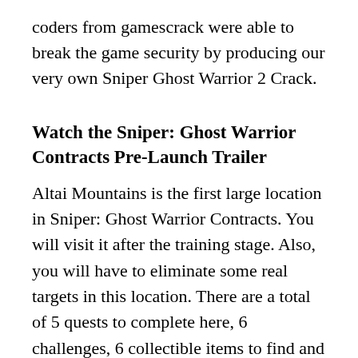coders from gamescrack were able to break the game security by producing our very own Sniper Ghost Warrior 2 Crack.
Watch the Sniper: Ghost Warrior Contracts Pre-Launch Trailer
Altai Mountains is the first large location in Sniper: Ghost Warrior Contracts. You will visit it after the training stage. Also, you will have to eliminate some real targets in this location. There are a total of 5 quests to complete here, 6 challenges, 6 collectible items to find and